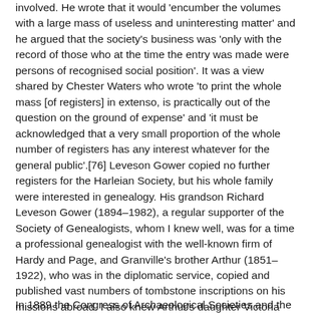involved. He wrote that it would 'encumber the volumes with a large mass of useless and uninteresting matter' and he argued that the society's business was 'only with the record of those who at the time the entry was made were persons of recognised social position'. It was a view shared by Chester Waters who wrote 'to print the whole mass [of registers] in extenso, is practically out of the question on the ground of expense' and 'it must be acknowledged that a very small proportion of the whole number of registers has any interest whatever for the general public'.[76] Leveson Gower copied no further registers for the Harleian Society, but his whole family were interested in genealogy. His grandson Richard Leveson Gower (1894–1982), a regular supporter of the Society of Genealogists, whom I knew well, was for a time a professional genealogist with the well-known firm of Hardy and Page, and Granville's brother Arthur (1851–1922), who was in the diplomatic service, copied and published vast numbers of tombstone inscriptions on his missions abroad. I also knew Arthur's daughter Victoria (1887–1977), a god daughter of the Empress Frederick, and helped her to identify some of those named in the diaries of her brother William, a clerk in the House of Lords but killed in action in 1918. I remember one day her pouring out on my desk from her knapsack for identification a pile of the most beautiful Victorian seals which had belonged to her grandmother Viscountess Milton.
In 1889 the Congress of Archaeological Societies and the Society of